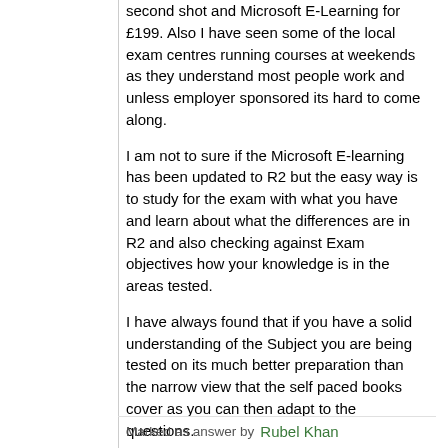second shot and Microsoft E-Learning for £199. Also I have seen some of the local exam centres running courses at weekends as they understand most people work and unless employer sponsored its hard to come along.
I am not to sure if the Microsoft E-learning has been updated to R2 but the easy way is to study for the exam with what you have and learn about what the differences are in R2 and also checking against Exam objectives how your knowledge is in the areas tested.
I have always found that if you have a solid understanding of the Subject you are being tested on its much better preparation than the narrow view that the self paced books cover as you can then adapt to the questions.
Good luck either way,
Kevin
Marked as answer by  Rubel Khan